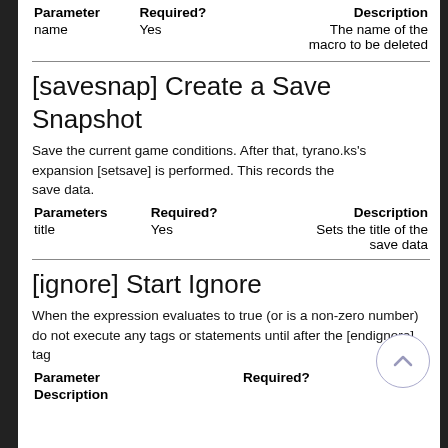| Parameter | Required? | Description |
| --- | --- | --- |
| name | Yes | The name of the macro to be deleted |
[savesnap] Create a Save Snapshot
Save the current game conditions. After that, tyrano.ks's expansion [setsave] is performed. This records the save data.
| Parameters | Required? | Description |
| --- | --- | --- |
| title | Yes | Sets the title of the save data |
[ignore] Start Ignore
When the expression evaluates to true (or is a non-zero number) do not execute any tags or statements until after the [endignore] tag
| Parameter | Required? | Description |
| --- | --- | --- |